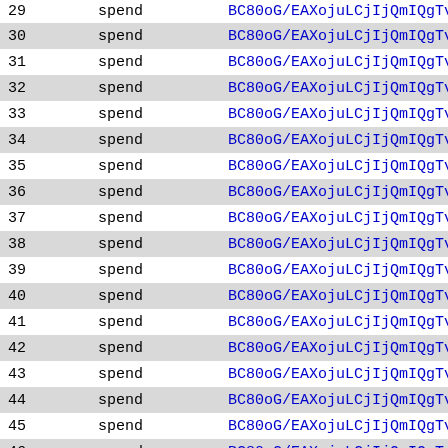| # | type | value |
| --- | --- | --- |
| 29 | spend | BC80oG/EAXojuLCjIjQmIQgT… |
| 30 | spend | BC80oG/EAXojuLCjIjQmIQgT… |
| 31 | spend | BC80oG/EAXojuLCjIjQmIQgT… |
| 32 | spend | BC80oG/EAXojuLCjIjQmIQgT… |
| 33 | spend | BC80oG/EAXojuLCjIjQmIQgT… |
| 34 | spend | BC80oG/EAXojuLCjIjQmIQgT… |
| 35 | spend | BC80oG/EAXojuLCjIjQmIQgT… |
| 36 | spend | BC80oG/EAXojuLCjIjQmIQgT… |
| 37 | spend | BC80oG/EAXojuLCjIjQmIQgT… |
| 38 | spend | BC80oG/EAXojuLCjIjQmIQgT… |
| 39 | spend | BC80oG/EAXojuLCjIjQmIQgT… |
| 40 | spend | BC80oG/EAXojuLCjIjQmIQgT… |
| 41 | spend | BC80oG/EAXojuLCjIjQmIQgT… |
| 42 | spend | BC80oG/EAXojuLCjIjQmIQgT… |
| 43 | spend | BC80oG/EAXojuLCjIjQmIQgT… |
| 44 | spend | BC80oG/EAXojuLCjIjQmIQgT… |
| 45 | spend | BC80oG/EAXojuLCjIjQmIQgT… |
| 46 | spend | BC80oG/EAXojuLCjIjQmIQgT… |